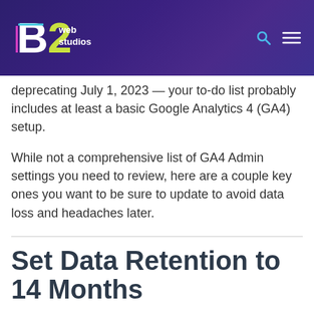B2 web studios
With UA deprecating July 1, 2023 — your to-do list probably includes at least a basic Google Analytics 4 (GA4) setup.
While not a comprehensive list of GA4 Admin settings you need to review, here are a couple key ones you want to be sure to update to avoid data loss and headaches later.
Set Data Retention to 14 Months
By default, data retention is set to 2 months. In most